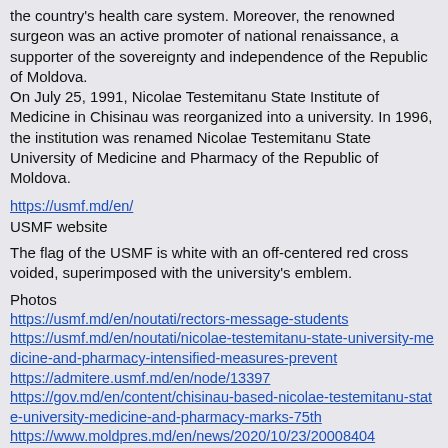the country's health care system. Moreover, the renowned surgeon was an active promoter of national renaissance, a supporter of the sovereignty and independence of the Republic of Moldova. On July 25, 1991, Nicolae Testemitanu State Institute of Medicine in Chisinau was reorganized into a university. In 1996, the institution was renamed Nicolae Testemitanu State University of Medicine and Pharmacy of the Republic of Moldova.
https://usmf.md/en/
USMF website
The flag of the USMF is white with an off-centered red cross voided, superimposed with the university's emblem.
Photos
https://usmf.md/en/noutati/rectors-message-students
https://usmf.md/en/noutati/nicolae-testemitanu-state-university-medicine-and-pharmacy-intensified-measures-prevent
https://admitere.usmf.md/en/node/13397
https://gov.md/en/content/chisinau-based-nicolae-testemitanu-state-university-medicine-and-pharmacy-marks-75th
https://www.moldpres.md/en/news/2020/10/23/20008404
https://www.ipn.md/en/societate/91124
https://mu-plovdiv.bg/en/official-visit-of-prof-dilyana-vicheva-md-phd-to-the-nicolae-testemitanu-state-university-of-medicine-and-